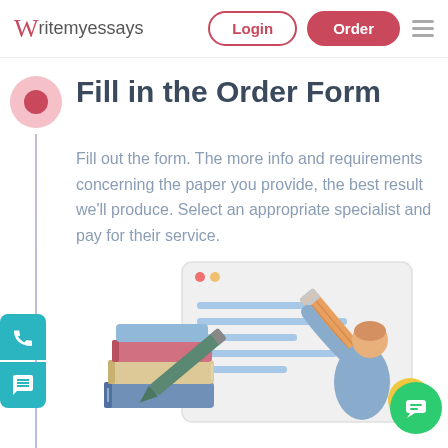Writemyessays — Login | Order
Fill in the Order Form
Fill out the form. The more info and requirements concerning the paper you provide, the best result we'll produce. Select an appropriate specialist and pay for their service.
[Figure (illustration): Illustration of a person writing on a large document/form, with a stack of colorful books below, a pencil, and a browser-style window frame with horizontal lines representing form fields.]